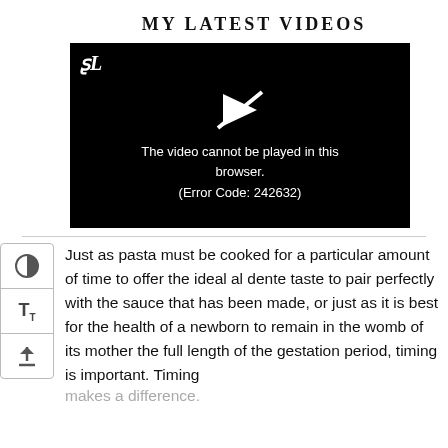MY LATEST VIDEOS
[Figure (screenshot): Black video player showing error message: 'The video cannot be played in this browser. (Error Code: 242632)' with a play icon crossed out and a logo in the top-left corner.]
Just as pasta must be cooked for a particular amount of time to offer the ideal al dente taste to pair perfectly with the sauce that has been made, or just as it is best for the health of a newborn to remain in the womb of its mother the full length of the gestation period, timing is important. Timing makes a difference.